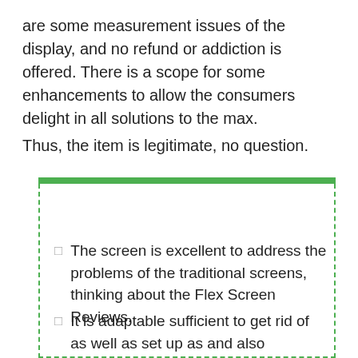are some measurement issues of the display, and no refund or addiction is offered. There is a scope for some enhancements to allow the consumers delight in all solutions to the max.
Thus, the item is legitimate, no question.
Pros
The screen is excellent to address the problems of the traditional screens, thinking about the Flex Screen Reviews.
It is adaptable sufficient to get rid of as well as set up as and also whenever you require.